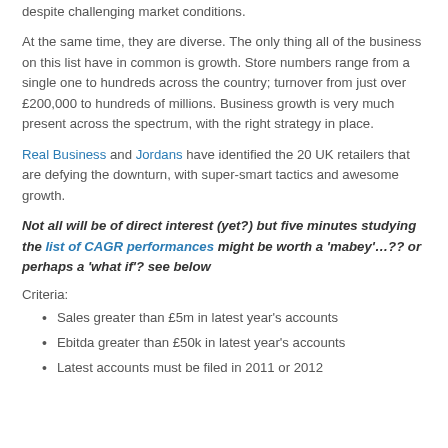despite challenging market conditions.
At the same time, they are diverse. The only thing all of the business on this list have in common is growth. Store numbers range from a single one to hundreds across the country; turnover from just over £200,000 to hundreds of millions. Business growth is very much present across the spectrum, with the right strategy in place.
Real Business and Jordans have identified the 20 UK retailers that are defying the downturn, with super-smart tactics and awesome growth.
Not all will be of direct interest (yet?) but five minutes studying the list of CAGR performances might be worth a 'mabey'…??  or perhaps a 'what if'? see below
Criteria:
Sales greater than £5m in latest year's accounts
Ebitda greater than £50k in latest year's accounts
Latest accounts must be filed in 2011 or 2012